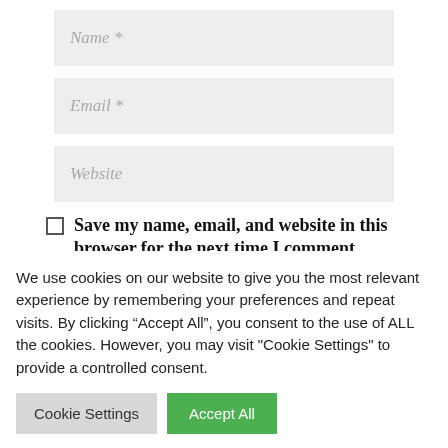Name *
Email *
Website
Save my name, email, and website in this browser for the next time I comment.
We use cookies on our website to give you the most relevant experience by remembering your preferences and repeat visits. By clicking “Accept All”, you consent to the use of ALL the cookies. However, you may visit "Cookie Settings" to provide a controlled consent.
Cookie Settings
Accept All